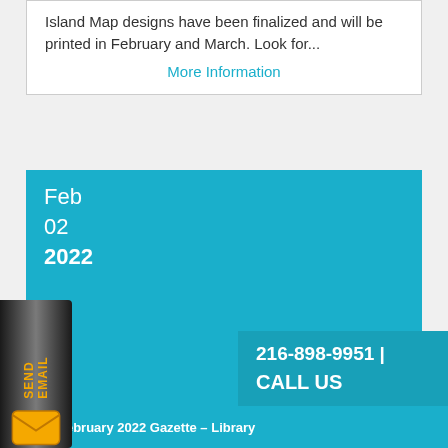Island Map designs have been finalized and will be printed in February and March. Look for...
More Information
Feb
02
2022
216-898-9951 | CALL US
[Figure (other): Send Email vertical sidebar widget with orange text and envelope icon]
February 2022 Gazette – Library